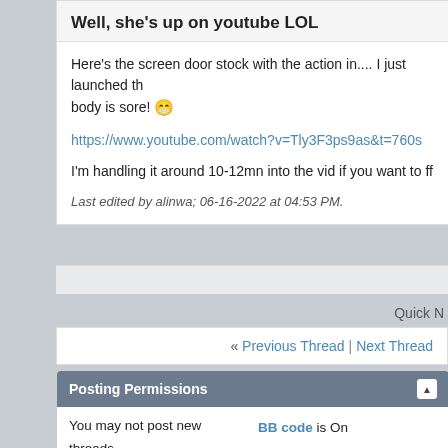Well, she's up on youtube LOL
Here's the screen door stock with the action in.... I just launched th body is sore! 😁
https://www.youtube.com/watch?v=Tly3F3ps9as&t=760s
I'm handling it around 10-12mn into the vid if you want to ff
Last edited by alinwa; 06-16-2022 at 04:53 PM.
Quick N
« Previous Thread | Next Thread
Posting Permissions
You may not post new threads
You may not post replies
You may not post
BB code is On
Smilies are On
[IMG] code is On
[VIDEO] code is On